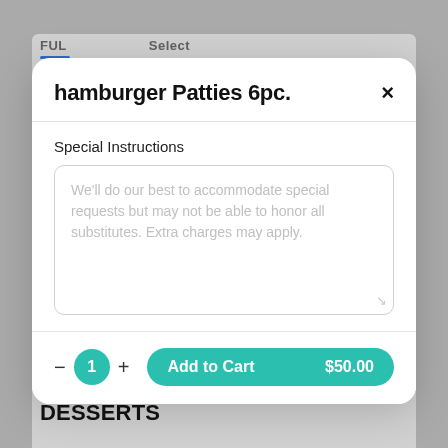hamburger Patties 6pc.
Special Instructions
We'll do our best to accommodate special requests but may not be able to honor all substitutes. Extra charges may apply.
Add to Cart   $50.00
DESSERTS